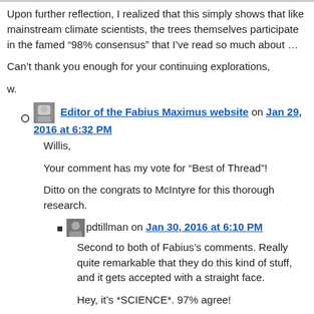Upon further reflection, I realized that this simply shows that like mainstream climate scientists, the trees themselves participate in the famed “98% consensus” that I’ve read so much about …
Can’t thank you enough for your continuing explorations,
w.
Editor of the Fabius Maximus website on Jan 29, 2016 at 6:32 PM
Willis,
Your comment has my vote for “Best of Thread”!
Ditto on the congrats to McIntyre for this thorough research.
pdtillman on Jan 30, 2016 at 6:10 PM
Second to both of Fabius’s comments. Really quite remarkable that they do this kind of stuff, and it gets accepted with a straight face.
Hey, it’s *SCIENCE*. 97% agree!
3. Jit on Jan 29, 2016 at 2:33 PM
Do the used Thelon cores resemble the discarded ones? I mean, do the used cores have the divergence problem that